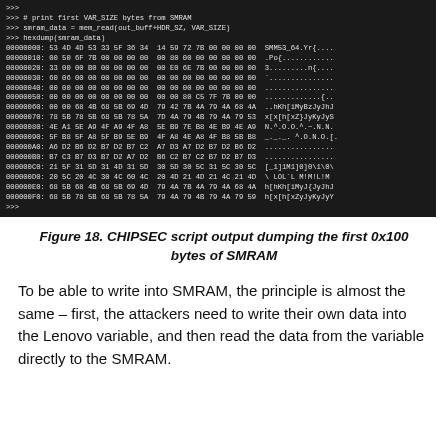[Figure (screenshot): Terminal/console output showing CHIPSEC Python script reading SMRAM memory. Shows Python >>> prompts with commands and hexdump output of first 0x100 bytes of SMRAM memory.]
Figure 18. CHIPSEC script output dumping the first 0x100 bytes of SMRAM
To be able to write into SMRAM, the principle is almost the same – first, the attackers need to write their own data into the Lenovo variable, and then read the data from the variable directly to the SMRAM.